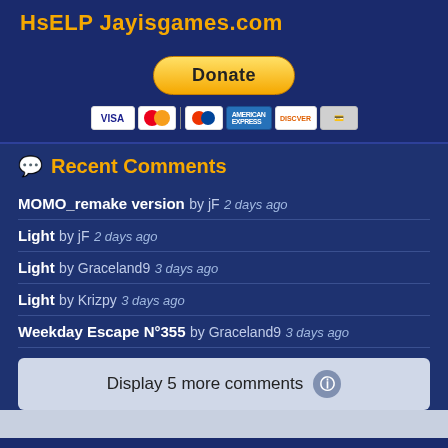HsELP Jayisgames.com
[Figure (other): Donate button with PayPal and payment card icons (Visa, Mastercard, Maestro, American Express, Discover, and another card)]
Recent Comments
MOMO_remake version  by jF  2 days ago
Light  by jF  2 days ago
Light  by Graceland9  3 days ago
Light  by Krizpy  3 days ago
Weekday Escape N°355  by Graceland9  3 days ago
Display 5 more comments